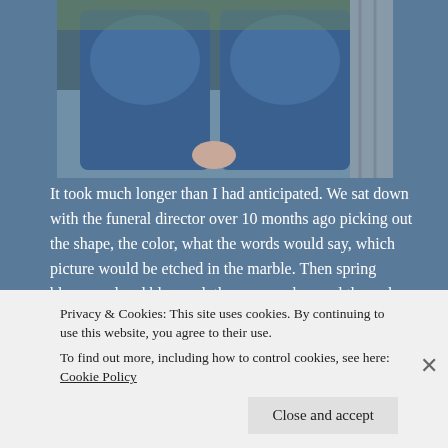[Figure (photo): Partial photo of a person sitting, wearing jeans, hands clasped, photographed from waist down, with greenery visible in background]
It took much longer than I had anticipated. We sat down with the funeral director over 10 months ago picking out the shape, the color, what the words would say, which picture would be etched in the marble. Then spring blossomed and bloomed, the summer breezed through, and the fall left its color. The few times I would visit, the only marker was a small plastic plaque with just a name and two dates. One date carrying with it one of my greatest memories, the other date, my worst fears realized.
They told us it would take a while. They said the type of stone we chose would have to be shipped in from overseas, but I needed it to happen, and I can't
Privacy & Cookies: This site uses cookies. By continuing to use this website, you agree to their use.
To find out more, including how to control cookies, see here: Cookie Policy